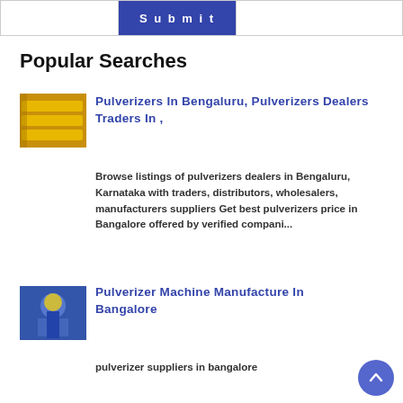[Figure (other): Submit button with bordered form area at top]
Popular Searches
[Figure (photo): Yellow pulverizer machine parts image]
Pulverizers In Bengaluru, Pulverizers Dealers Traders In ,
Browse listings of pulverizers dealers in Bengaluru, Karnataka with traders, distributors, wholesalers, manufacturers suppliers Get best pulverizers price in Bangalore offered by verified compani...
[Figure (photo): Worker in blue helmet - pulverizer machine manufacturer image]
Pulverizer Machine Manufacture In Bangalore
pulverizer suppliers in bangalore